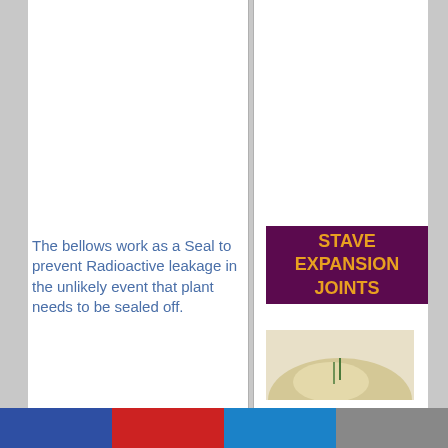The bellows work as a Seal to prevent Radioactive leakage in the unlikely event that plant needs to be sealed off.
STAVE EXPANSION JOINTS
[Figure (photo): Partial photo of a stave expansion joint component, beige/cream colored dome shape with small markings visible]